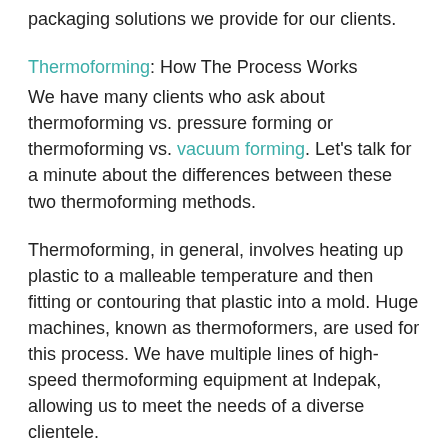packaging solutions we provide for our clients.
Thermoforming: How The Process Works
We have many clients who ask about thermoforming vs. pressure forming or thermoforming vs. vacuum forming. Let’s talk for a minute about the differences between these two thermoforming methods.
Thermoforming, in general, involves heating up plastic to a malleable temperature and then fitting or contouring that plastic into a mold. Huge machines, known as thermoformers, are used for this process. We have multiple lines of high-speed thermoforming equipment at Indepak, allowing us to meet the needs of a diverse clientele.
Vacuum thermoforming is a type of